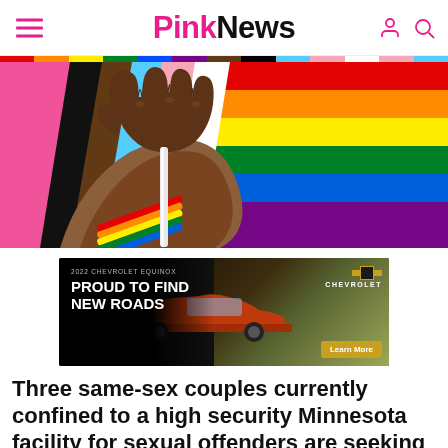PinkNews
[Figure (illustration): Illustrated hand holding a pride flag with rainbow bracelet on pink background]
[Figure (other): Advertisement: 2022 Chevrolet Equinox - Proud to Find New Roads. Shows red SUV with Chevrolet logo. Learn More button.]
Three same-sex couples currently confined to a high security Minnesota facility for sexual offenders are seeking to get married, following the introduction